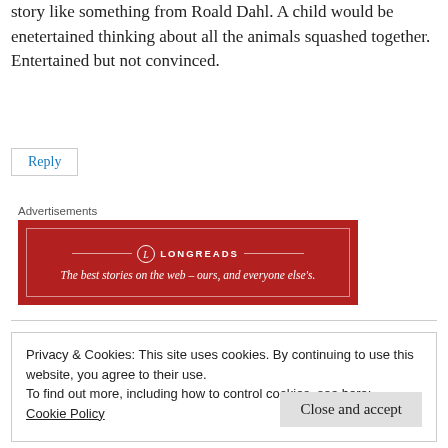story like something from Roald Dahl. A child would be enetertained thinking about all the animals squashed together. Entertained but not convinced.
Reply
Advertisements
[Figure (other): Longreads advertisement banner: red background with Longreads logo and tagline 'The best stories on the web – ours, and everyone else's.']
Privacy & Cookies: This site uses cookies. By continuing to use this website, you agree to their use.
To find out more, including how to control cookies, see here:
Cookie Policy
Close and accept